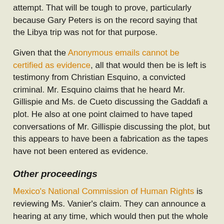attempt. That will be tough to prove, particularly because Gary Peters is on the record saying that the Libya trip was not for that purpose.
Given that the Anonymous emails cannot be certified as evidence, all that would then be is left is testimony from Christian Esquino, a convicted criminal. Mr. Esquino claims that he heard Mr. Gillispie and Ms. de Cueto discussing the Gaddafi a plot. He also at one point claimed to have taped conversations of Mr. Gillispie discussing the plot, but this appears to have been a fabrication as the tapes have not been entered as evidence.
Other proceedings
Mexico's National Commission of Human Rights is reviewing Ms. Vanier's claim. They can announce a hearing at any time, which would then put the whole process on hold. If they rule in favour of Ms. Vanier there could be two results: she is released and dismissed from the process; or she is released and the process continues with her as a defendant. She could feasibly be allowed to return to Canada while the